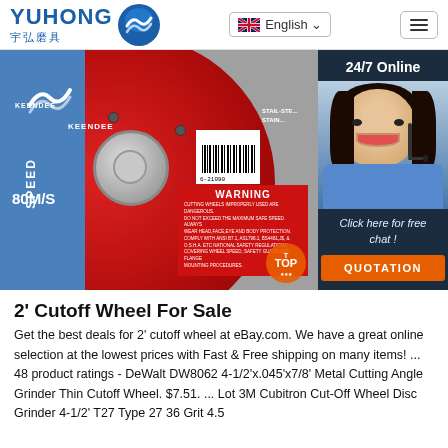YUHONG 宇弘磨具 | English | Menu
[Figure (photo): Product photo of a red and blue KEENDEE cutting/cutoff wheel with WARNING text, SPEED 80M/S label, barcode, alongside a 24/7 Online customer service panel with operator photo and QUOTATION button]
2' Cutoff Wheel For Sale
Get the best deals for 2' cutoff wheel at eBay.com. We have a great online selection at the lowest prices with Fast & Free shipping on many items! ... 48 product ratings - DeWalt DW8062 4-1/2'x.045'x7/8' Metal Cutting Angle Grinder Thin Cutoff Wheel. $7.51. ... Lot 3M Cubitron Cut-Off Wheel Disc Grinder 4-1/2' T27 Type 27 36 Grit 4.5